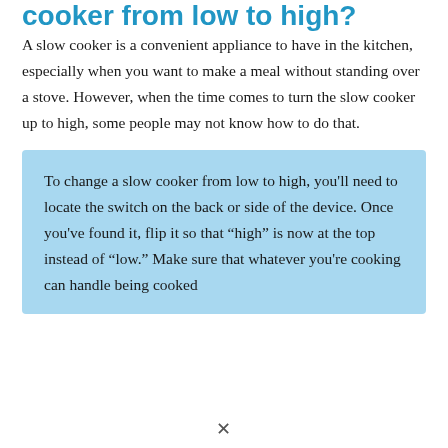cooker from low to high?
A slow cooker is a convenient appliance to have in the kitchen, especially when you want to make a meal without standing over a stove. However, when the time comes to turn the slow cooker up to high, some people may not know how to do that.
To change a slow cooker from low to high, you'll need to locate the switch on the back or side of the device. Once you've found it, flip it so that “high” is now at the top instead of “low.” Make sure that whatever you're cooking can handle being cooked